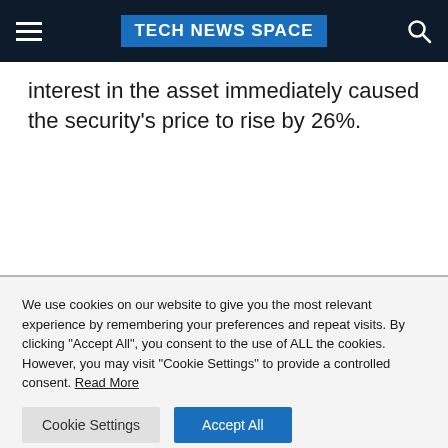TECH NEWS SPACE
interest in the asset immediately caused the security's price to rise by 26%.
We use cookies on our website to give you the most relevant experience by remembering your preferences and repeat visits. By clicking "Accept All", you consent to the use of ALL the cookies. However, you may visit "Cookie Settings" to provide a controlled consent. Read More
Cookie Settings | Accept All